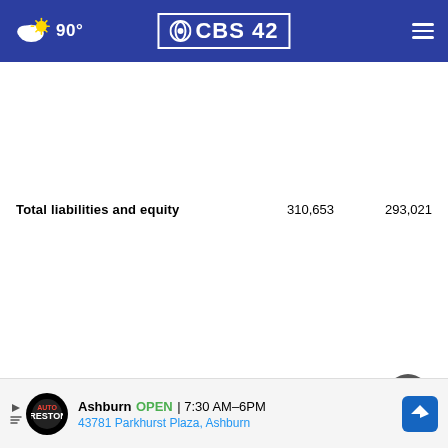CBS 42 - 90°
| Total liabilities and equity | 310,653 | 293,021 |
[Figure (screenshot): Close button (X) circle icon in dark grey]
[Figure (screenshot): Advertisement banner: Ashburn OPEN 7:30 AM–6PM, 43781 Parkhurst Plaza, Ashburn - Firestone Auto logo with direction icon]